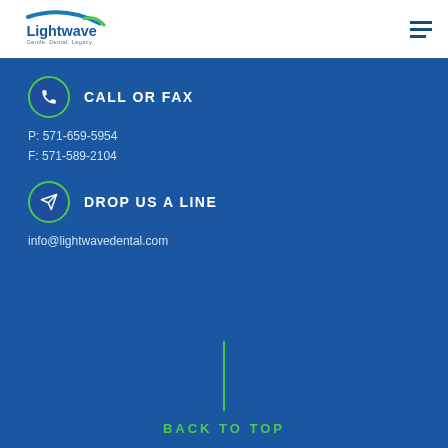[Figure (logo): Lightwave dental logo with blue swoosh and text 'Lightwave' and 'Gentle. Dental. Legacy.']
CALL OR FAX
P: 571-659-5954
F: 571-589-2104
DROP US A LINE
info@lightwavedental.com
BACK TO TOP